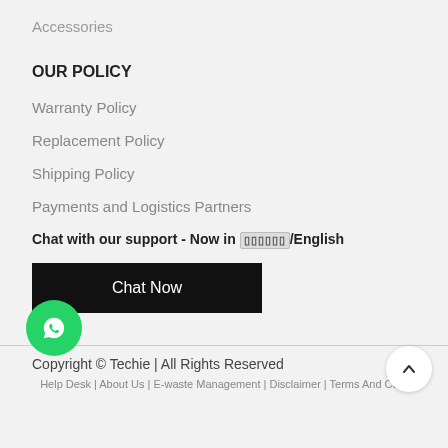Accessories
OUR POLICY
Warranty Policy
Replacement Policy
Shipping Policy
Payments and Logistics Partners
Chat with our support - Now in ▯▯▯▯▯▯/English
Chat Now
[Figure (illustration): WhatsApp green circle button icon]
Copyright © Techie | All Rights Reserved
Help Desk | About Us | E-waste Management | Disclaimer | Terms And Co...